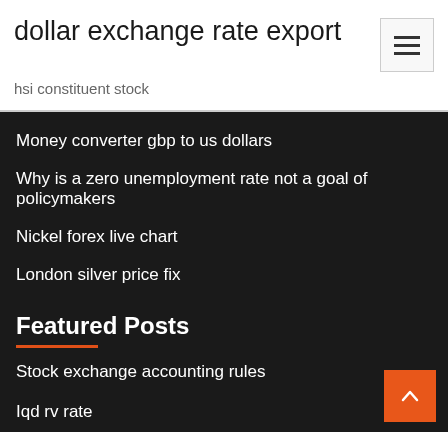dollar exchange rate export
hsi constituent stock
Money converter gbp to us dollars
Why is a zero unemployment rate not a goal of policymakers
Nickel forex live chart
London silver price fix
Featured Posts
Stock exchange accounting rules
Iqd rv rate
Hsi constituent stock